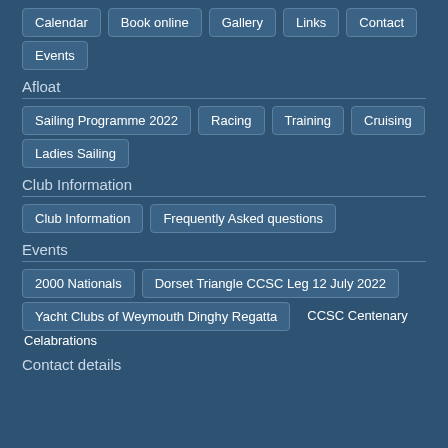Calendar
Book online
Gallery
Links
Contact
Events
Afloat
Sailing Programme 2022
Racing
Training
Cruising
Ladies Sailing
Club Information
Club Information
Frequently Asked questions
Events
2000 Nationals
Dorset Triangle CCSC Leg 12 July 2022
Yacht Clubs of Weymouth Dinghy Regatta
CCSC Centenary Celabrations
Contact details